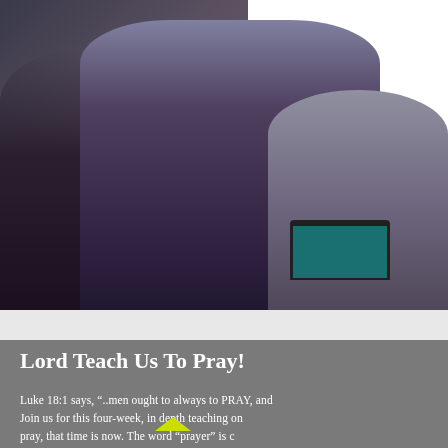[Figure (photo): Photo of people at a gathering or study session, appearing to look downward, with overlaid white and peach/pink rectangular blocks in the upper right corner. The scene has a dark, muted tone.]
Lord Teach Us To Pray!
Luke 18:1 says, “..men ought always to PRAY, and Join us for this four-week, in depth teaching on pray, that time is now. The word “prayer” is c Christian doesn’t mean one actually prays. Don